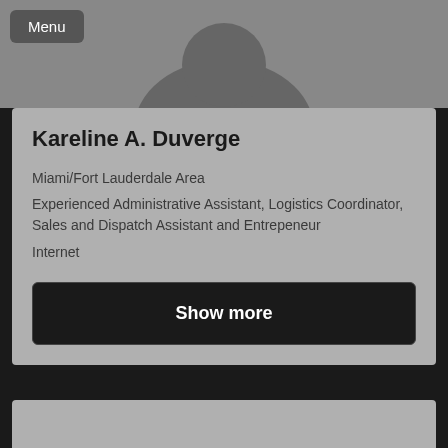[Figure (photo): Profile header image area with gray background, showing partial silhouette]
Menu
Kareline A. Duverge
Miami/Fort Lauderdale Area
Experienced Administrative Assistant, Logistics Coordinator, Sales and Dispatch Assistant and Entrepeneur
Internet
Show more